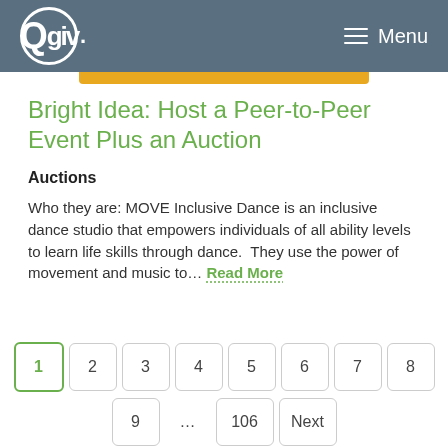Qgiv. Menu
Bright Idea: Host a Peer-to-Peer Event Plus an Auction
Auctions
Who they are: MOVE Inclusive Dance is an inclusive dance studio that empowers individuals of all ability levels to learn life skills through dance.  They use the power of movement and music to… Read More
1  2  3  4  5  6  7  8
9  ...  106  Next